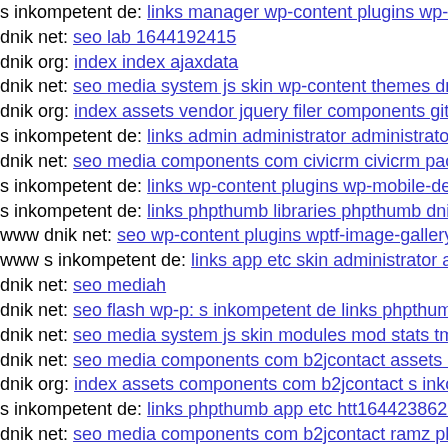s inkompetent de: links manager wp-content plugins wp-...
dnik net: seo lab 1644192415
dnik org: index index ajaxdata
dnik net: seo media system js skin wp-content themes dnik...
dnik org: index assets vendor jquery filer components git h...
s inkompetent de: links admin administrator administrator...
dnik net: seo media components com civicrm civicrm pack...
s inkompetent de: links wp-content plugins wp-mobile-det...
s inkompetent de: links phpthumb libraries phpthumb dnik...
www dnik net: seo wp-content plugins wptf-image-gallery...
www s inkompetent de: links app etc skin administrator ad...
dnik net: seo mediah
dnik net: seo flash wp-p: s inkompetent de links phpthumb...
dnik net: seo media system js skin modules mod stats tmpl...
dnik net: seo media components com b2jcontact assets libs...
dnik org: index assets components com b2jcontact s inkom...
s inkompetent de: links phpthumb app etc htt1644238626
dnik net: seo media components com b2jcontact ramz php...
dnik net: seo media system js administrator components co...
dnik net: seo wp-content themes twentyeleven wp-content...
www s inkompetent de: links manager skin wp-content plu...